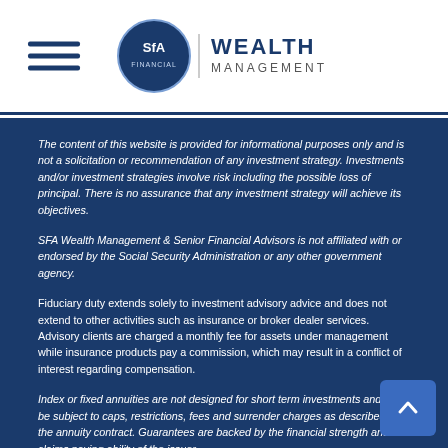SFA Wealth Management logo header with hamburger menu
The content of this website is provided for informational purposes only and is not a solicitation or recommendation of any investment strategy. Investments and/or investment strategies involve risk including the possible loss of principal. There is no assurance that any investment strategy will achieve its objectives.
SFA Wealth Management & Senior Financial Advisors is not affiliated with or endorsed by the Social Security Administration or any other government agency.
Fiduciary duty extends solely to investment advisory advice and does not extend to other activities such as insurance or broker dealer services. Advisory clients are charged a monthly fee for assets under management while insurance products pay a commission, which may result in a conflict of interest regarding compensation.
Index or fixed annuities are not designed for short term investments and may be subject to caps, restrictions, fees and surrender charges as described in the annuity contract. Guarantees are backed by the financial strength and claims paying ability of the issuer.
The National Social Security Advisor (NSSA) certification is obtained by completing eight hours of course work, passing a certification exam, and requires sixteen hours of biennial continuing education. The NSSA certification is not affiliated with or endorsed